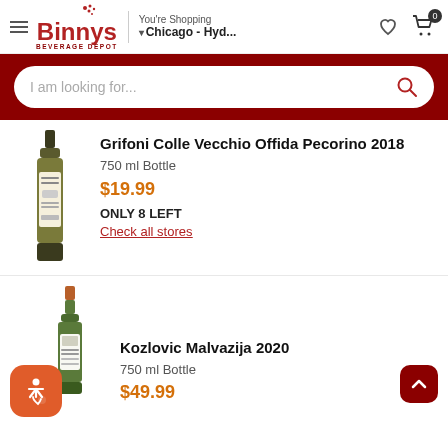Binny's Beverage Depot — You're Shopping Chicago - Hyd...
I am looking for...
[Figure (photo): Wine bottle for Grifoni Colle Vecchio Offida Pecorino 2018, white wine, cream colored label]
Grifoni Colle Vecchio Offida Pecorino 2018
750 ml Bottle
$19.99
ONLY 8 LEFT
Check all stores
[Figure (photo): Wine bottle for Kozlovic Malvazija 2020, white wine, green bottle with white label]
Kozlovic Malvazija 2020
750 ml Bottle
$49.99